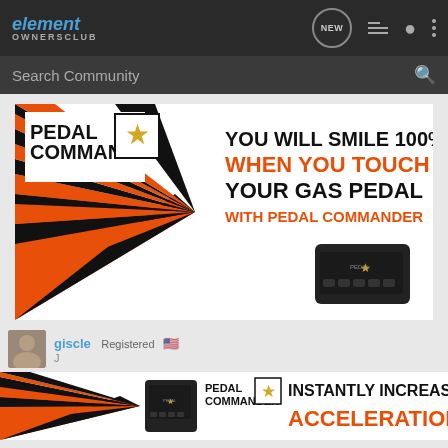element OWNERSCLUB
Search Community
[Figure (screenshot): Pedal Commander advertisement banner: 'YOU WILL SMILE 100% WHEN YOU TOUCH YOUR GAS PEDAL WITH PEDAL COMMANDER' with orange and black design and product device image]
giscle  Registered
[Figure (screenshot): Pedal Commander advertisement banner: 'INSTANTLY INCREASE ACCELERATION' with orange and black design and product device image]